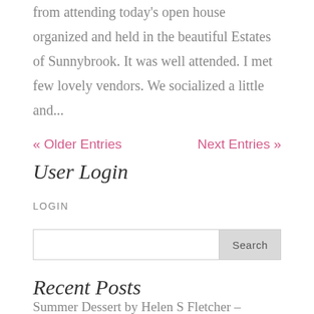from attending today's open house organized and held in the beautiful Estates of Sunnybrook. It was well attended. I met few lovely vendors. We socialized a little and...
« Older Entries    Next Entries »
User Login
LOGIN
Search
Recent Posts
Summer Dessert by Helen S Fletcher –